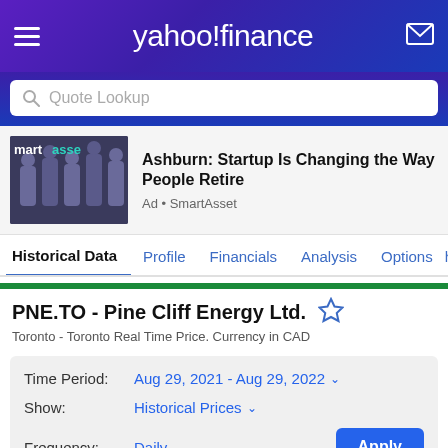[Figure (screenshot): Yahoo Finance website header with purple gradient background, hamburger menu on left, Yahoo Finance logo in center, mail icon on right]
Quote Lookup
[Figure (photo): SmartAsset advertisement image showing group of people in dark background]
Ashburn: Startup Is Changing the Way People Retire
Ad • SmartAsset
Historical Data
Profile
Financials
Analysis
Options
PNE.TO - Pine Cliff Energy Ltd.
Toronto - Toronto Real Time Price. Currency in CAD
Time Period: Aug 29, 2021 - Aug 29, 2022
Show: Historical Prices
Frequency: Daily